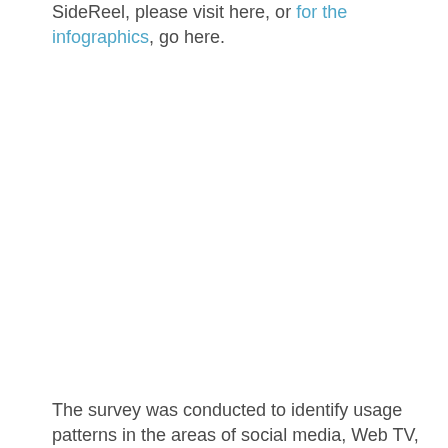SideReel, please visit here, or for the infographics, go here.
The survey was conducted to identify usage patterns in the areas of social media, Web TV,